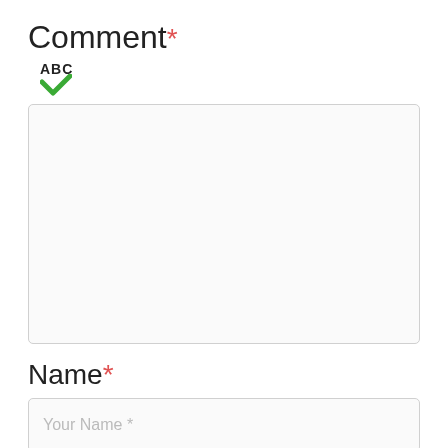Comment*
[Figure (illustration): ABC text with green checkmark icon below it, representing a spell-check or text validation indicator]
[Figure (other): Large empty textarea input box with rounded corners and light gray border]
Name*
[Figure (other): Text input field with placeholder text 'Your Name *' and rounded corners]
Email*